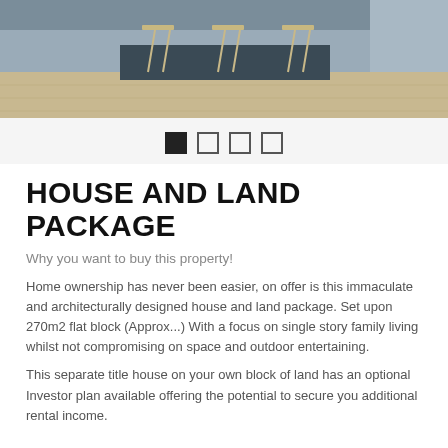[Figure (photo): Interior photo of a modern kitchen/dining area with bar stools and hardwood floor, cropped at top of page]
[Figure (infographic): Navigation dots indicator: one filled black square followed by three empty squares]
HOUSE AND LAND PACKAGE
Why you want to buy this property!
Home ownership has never been easier, on offer is this immaculate and architecturally designed house and land package. Set upon 270m2 flat block (Approx...) With a focus on single story family living whilst not compromising on space and outdoor entertaining.
This separate title house on your own block of land has an optional Investor plan available offering the potential to secure you additional rental income.